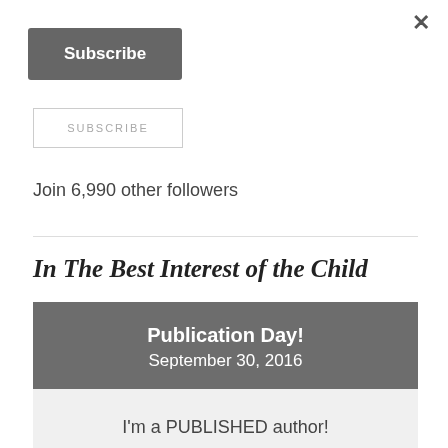×
Subscribe
SUBSCRIBE
Join 6,990 other followers
In The Best Interest of the Child
Publication Day! September 30, 2016
I'm a PUBLISHED author!